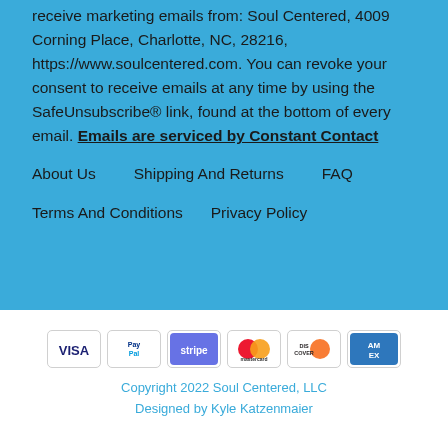receive marketing emails from: Soul Centered, 4009 Corning Place, Charlotte, NC, 28216, https://www.soulcentered.com. You can revoke your consent to receive emails at any time by using the SafeUnsubscribe® link, found at the bottom of every email. Emails are serviced by Constant Contact
About Us
Shipping And Returns
FAQ
Terms And Conditions
Privacy Policy
[Figure (other): Payment method icons: VISA, PayPal, stripe, Mastercard, Discover, American Express]
Copyright 2022 Soul Centered, LLC
Designed by Kyle Katzenmaier